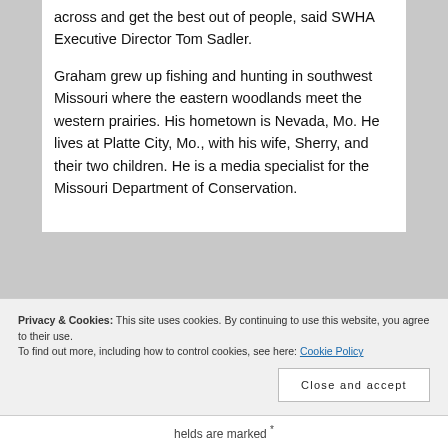across and get the best out of people, said SWHA Executive Director Tom Sadler.
Graham grew up fishing and hunting in southwest Missouri where the eastern woodlands meet the western prairies. His hometown is Nevada, Mo. He lives at Platte City, Mo., with his wife, Sherry, and their two children. He is a media specialist for the Missouri Department of Conservation.
Privacy & Cookies: This site uses cookies. By continuing to use this website, you agree to their use. To find out more, including how to control cookies, see here: Cookie Policy
Close and accept
helds are marked *